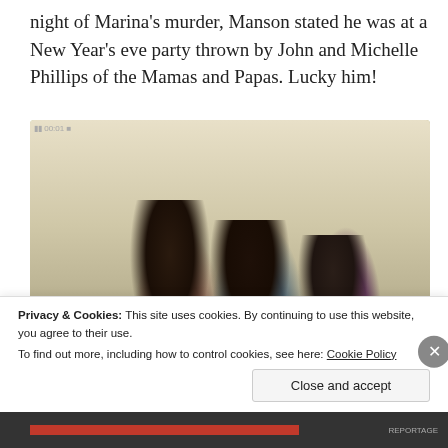night of Marina's murder, Manson stated he was at a New Year's eve party thrown by John and Michelle Phillips of the Mamas and Papas. Lucky him!
[Figure (photo): A vintage photo showing three young women with long dark hair standing against a wall, appearing to sing or talk. They are wearing 1960s/70s style clothing in pink, tie-dye blue, and purple.]
Privacy & Cookies: This site uses cookies. By continuing to use this website, you agree to their use.
To find out more, including how to control cookies, see here: Cookie Policy
Close and accept